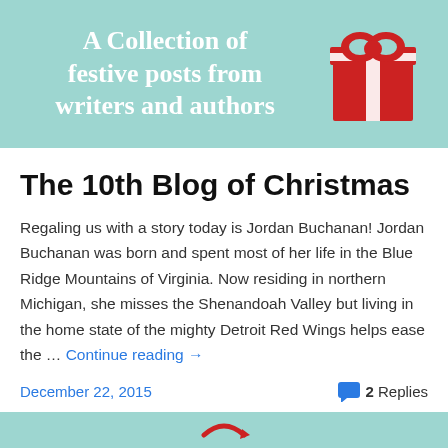[Figure (illustration): Blog header banner with teal/mint background showing text 'A Collection of festive posts from writers and authors' and a red gift box illustration on the right]
The 10th Blog of Christmas
Regaling us with a story today is Jordan Buchanan! Jordan Buchanan was born and spent most of her life in the Blue Ridge Mountains of Virginia. Now residing in northern Michigan, she misses the Shenandoah Valley but living in the home state of the mighty Detroit Red Wings helps ease the … Continue reading →
December 22, 2015    2 Replies